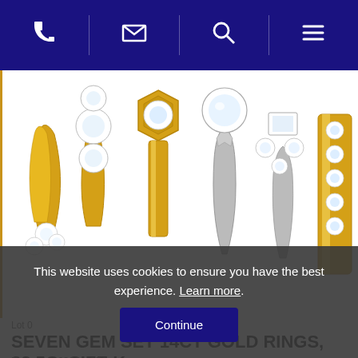Navigation bar with phone, email, search, and menu icons
[Figure (photo): Seven gem-set 14ct gold rings displayed side by side on white background, featuring diamond and gemstone settings in yellow gold, various styles including solitaire, cluster, and band rings.]
This website uses cookies to ensure you have the best experience. Learn more.
Continue
Lot 0
SEVEN GEM SET 14CT GOLD RINGS, 22.5G, SIZE K -
Estimate: £300 - 350